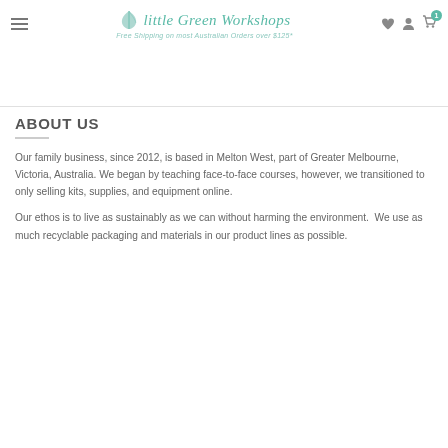Little Green Workshops — Free Shipping on most Australian Orders over $125*
ABOUT US
Our family business, since 2012, is based in Melton West, part of Greater Melbourne, Victoria, Australia. We began by teaching face-to-face courses, however, we transitioned to only selling kits, supplies, and equipment online.
Our ethos is to live as sustainably as we can without harming the environment.  We use as much recyclable packaging and materials in our product lines as possible.